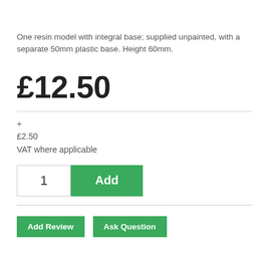One resin model with integral base; supplied unpainted, with a separate 50mm plastic base. Height 60mm.
£12.50
+ £2.50 VAT where applicable
1  Add
Add Review   Ask Question